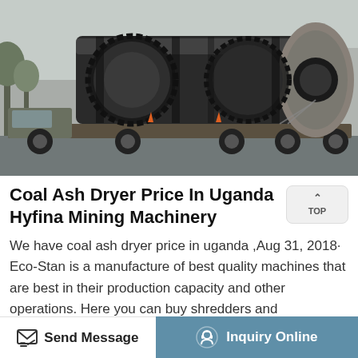[Figure (photo): Large industrial rotary dryer (coal ash dryer) mounted on a flatbed truck, photographed outdoors. The machine is cylindrical, dark/black in color, with visible gear rings and flanges. The truck is a heavy flatbed type.]
Coal Ash Dryer Price In Uganda Hyfina Mining Machinery
We have coal ash dryer price in uganda ,Aug 31, 2018· Eco-Stan is a manufacture of best quality machines that are best in their production capacity and other operations. Here you can buy shredders and WhiteCoalMachines which
Send Message | Inquiry Online